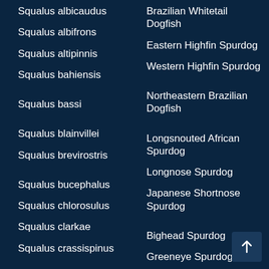Squalus albicaudus | Brazilian Whitetail Dogfish
Squalus albifrons | Eastern Highfin Spurdog
Squalus altipinnis | Western Highfin Spurdog
Squalus bahiensis | Northeastern Brazilian Dogfish
Squalus bassi | Longsnouted African Spurdog
Squalus blainvillei | Longnose Spurdog
Squalus brevirostris | Japanese Shortnose Spurdog
Squalus bucephalus | Bighead Spurdog
Squalus chlorosulus | Greeneye Spurdog
Squalus clarkae | Genie's Dogfish
Squalus crassispinus | Fatspine Spurdog